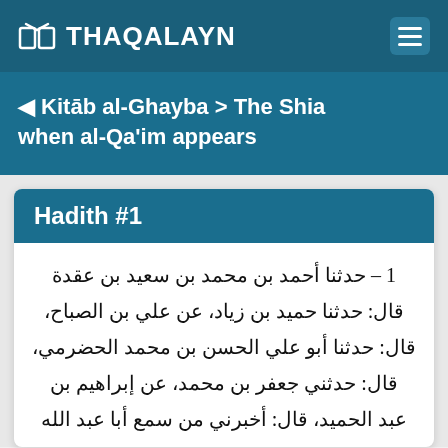THAQALAYN
Kitāb al-Ghayba > The Shia when al-Qa'im appears
Hadith #1
1 – حدثنا أحمد بن محمد بن سعيد بن عقدة قال: حدثنا حميد بن زياد، عن علي بن الصباح، قال: حدثنا أبو علي الحسن بن محمد الحضرمي، قال: حدثني جعفر بن محمد، عن إبراهيم بن عبد الحميد، قال: أخبرني من سمع أبا عبد الله